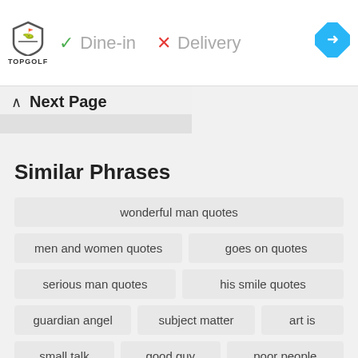[Figure (screenshot): Top ad banner for Topgolf restaurant showing logo, Dine-in checkmark, Delivery X mark, and navigation icon]
Next Page
Similar Phrases
wonderful man quotes
men and women quotes
goes on quotes
serious man quotes
his smile quotes
guardian angel
subject matter
art is
small talk
good guy
poor people